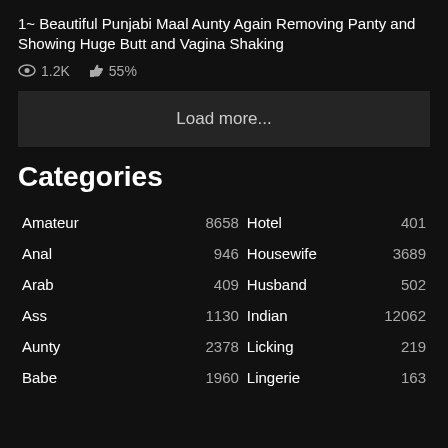1~ Beautiful Punjabi Maal Aunty Again Removing Panty and Showing Huge Butt and Vagina Shaking
1.2K views  55% likes
Load more...
Categories
| Category | Count | Category | Count |
| --- | --- | --- | --- |
| Amateur | 8658 | Hotel | 401 |
| Anal | 946 | Housewife | 3689 |
| Arab | 409 | Husband | 502 |
| Ass | 1130 | Indian | 12062 |
| Aunty | 2378 | Licking | 219 |
| Babe | 1960 | Lingerie | 163 |